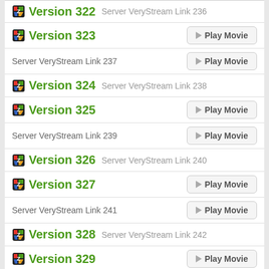Version 322  Server VeryStream Link 236
Version 323  Play Movie
Server VeryStream Link 237  Play Movie
Version 324  Server VeryStream Link 238
Version 325  Play Movie
Server VeryStream Link 239  Play Movie
Version 326  Server VeryStream Link 240
Version 327  Play Movie
Server VeryStream Link 241  Play Movie
Version 328  Server VeryStream Link 242
Version 329  Play Movie